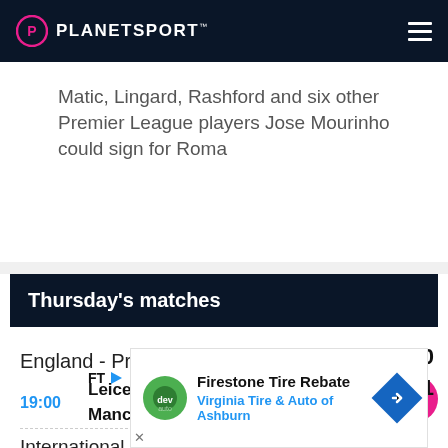PLANETSPORT
Matic, Lingard, Rashford and six other Premier League players Jose Mourinho could sign for Roma
Thursday's matches
England - Premier League
19:00  Leicester City  Manchester United
International - National Friendlies
[Figure (other): Advertisement banner: Firestone Tire Rebate - Virginia Tire & Auto of Ashburn]
0
1